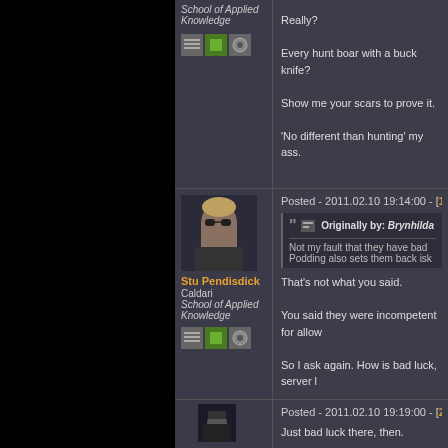School of Applied Knowledge
Really?
Every hunt boar with a buck knife?
Show me your scars to prove it.
'No different than hunting' my ass.
Posted - 2011.02.10 19:14:00 - [19]
Originally by: Brynhilda
Not my fault that they have bad
Podding also sets them back isk
Stu Pendisdick
Caldari
School of Applied Knowledge
That's not what you said.
You said they were incompetent for allow
So I ask again. How is bad luck, server l
Posted - 2011.02.10 19:19:00 - [20]
Just bad luck there, then.